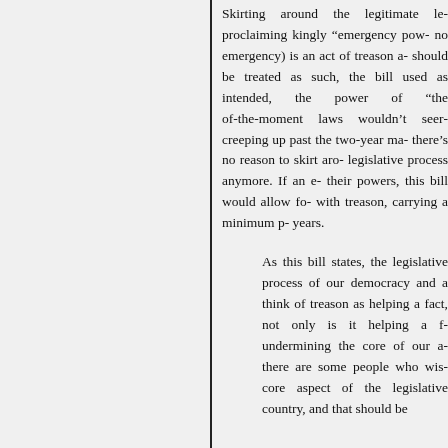Skirting around the legitimate le- proclaiming kingly "emergency pow- no emergency) is an act of treason a- should be treated as such, the bill used as intended, the power of "the of-the-moment laws wouldn't seer- creeping up past the two-year ma- there's no reason to skirt aro- legislative process anymore. If an e- their powers, this bill would allow fo- with treason, carrying a minimum p- years.
As this bill states, the legislative process of our democracy and a think of treason as helping a fact, not only is it helping a f- undermining the core of our a- there are some people who wis- core aspect of the legislative country, and that should be